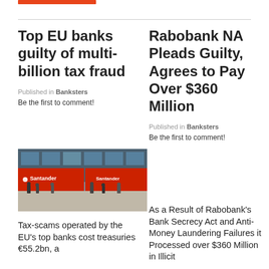Top EU banks guilty of multi-billion tax fraud
Published in Banksters
Be the first to comment!
[Figure (photo): Santander bank branch exterior with red signage and pedestrians walking by]
Tax-scams operated by the EU's top banks cost treasuries €55.2bn, a
Rabobank NA Pleads Guilty, Agrees to Pay Over $360 Million
Published in Banksters
Be the first to comment!
As a Result of Rabobank's Bank Secrecy Act and Anti-Money Laundering Failures it Processed over $360 Million in Illicit